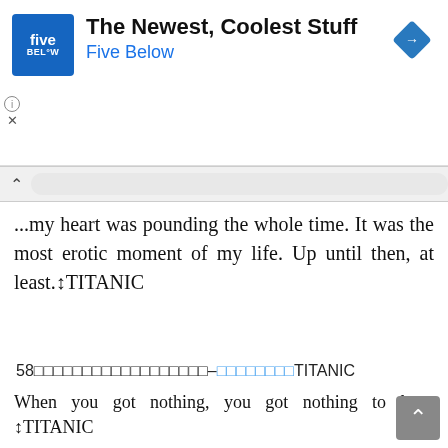[Figure (screenshot): Five Below advertisement banner with blue logo showing 'five BEL°W', title 'The Newest, Coolest Stuff', subtitle 'Five Below', and a blue diamond arrow icon on the right. Info icon and X below logo on left side.]
...my heart was pounding the whole time. It was the most erotic moment of my life. Up until then, at least.↵TITANIC
58□□□□□□□□□□□□□□□□□□–□□□□□□□□TITANIC
When you got nothing, you got nothing to lose. ↵TITANIC